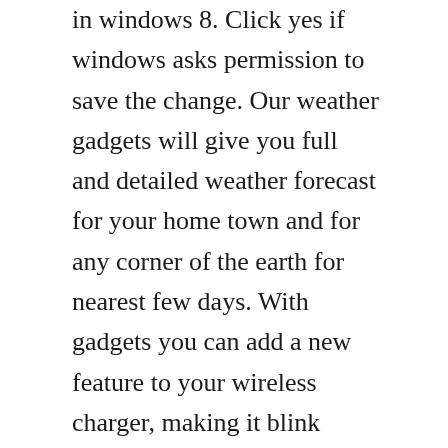in windows 8. Click yes if windows asks permission to save the change. Our weather gadgets will give you full and detailed weather forecast for your home town and for any corner of the earth for nearest few days. With gadgets you can add a new feature to your wireless charger, making it blink when your phones battery is low.
The entries for the x86 version are neccessary even if you only use the 64bit version. Windows 8 manager is an allinone utility for microsoft windows 8 and 8. How to turn off windows defender in windows 10, windows 8